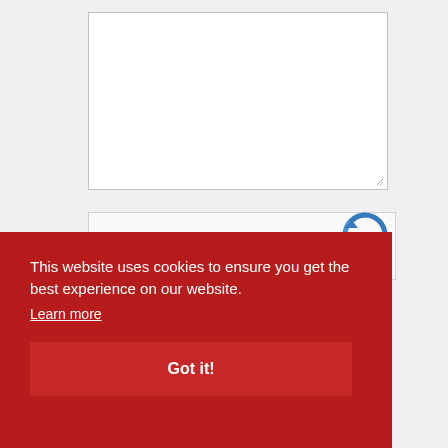[Figure (screenshot): Empty textarea input box with resize handle at bottom-right corner]
[Figure (screenshot): reCAPTCHA widget box with checkbox on left and reCAPTCHA logo icon on right, light gray background]
This website uses cookies to ensure you get the best experience on our website.
Learn more
Got it!